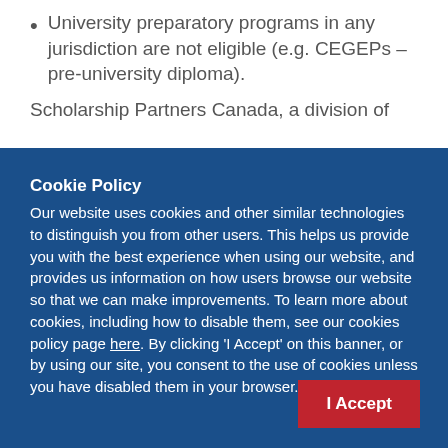University preparatory programs in any jurisdiction are not eligible (e.g. CEGEPs – pre-university diploma).
Scholarship Partners Canada, a division of
Cookie Policy
Our website uses cookies and other similar technologies to distinguish you from other users. This helps us provide you with the best experience when using our website, and provides us information on how users browse our website so that we can make improvements. To learn more about cookies, including how to disable them, see our cookies policy page here. By clicking 'I Accept' on this banner, or by using our site, you consent to the use of cookies unless you have disabled them in your browser.